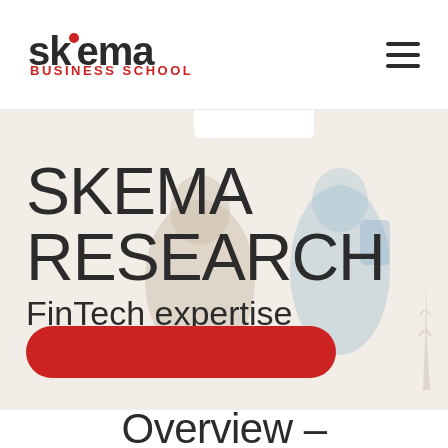SKEMA BUSINESS SCHOOL
[Figure (illustration): SKEMA Research FinTech expertise hero banner with faded background showing students in Paris, a red CTA button, and a white navigation tab]
SKEMA RESEARCH
FinTech expertise
Overview –